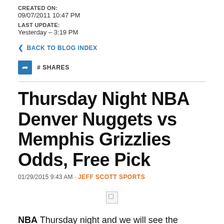CREATED ON:
09/07/2011 10:47 PM
LAST UPDATE:
Yesterday – 3:19 PM
< BACK TO BLOG INDEX
# SHARES
Thursday Night NBA Denver Nuggets vs Memphis Grizzlies Odds, Free Pick
01/29/2015 9:43 AM · JEFF SCOTT SPORTS
[Figure (other): Broken/missing image placeholder]
NBA Thursday night and we will see the Denver Nuggets travel to the FedEx Forum in Memphis,